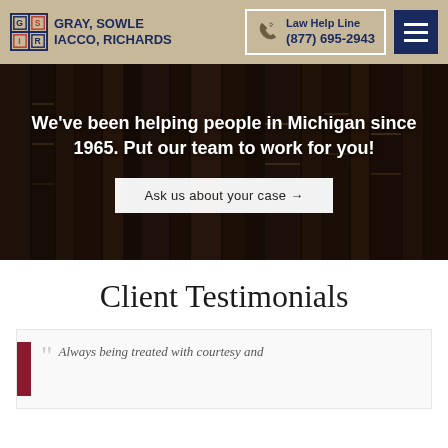GRAY, SOWLE IACCO, RICHARDS | Law Help Line (877) 695-2943
[Figure (photo): Dark blurred law books on shelves forming the hero background]
We've been helping people in Michigan since 1965. Put our team to work for you!
Ask us about your case →
Client Testimonials
Always being treated with courtesy and